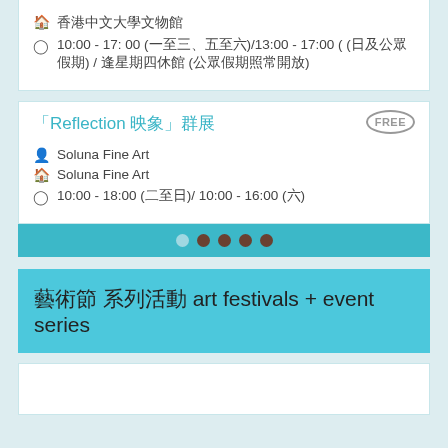香港中文大學文物館
10:00 - 17: 00 (一至三、五至六)/13:00 - 17:00 ( (日及公眾假期) / 逢星期四休館 (公眾假期照常開放)
「Reflection 映象」群展
Soluna Fine Art
Soluna Fine Art
10:00 - 18:00 (二至日)/ 10:00 - 16:00 (六)
[Figure (infographic): Pagination dots bar with teal background - 5 dots, first is lighter, rest are dark brown]
藝術節 系列活動 art festivals + event series